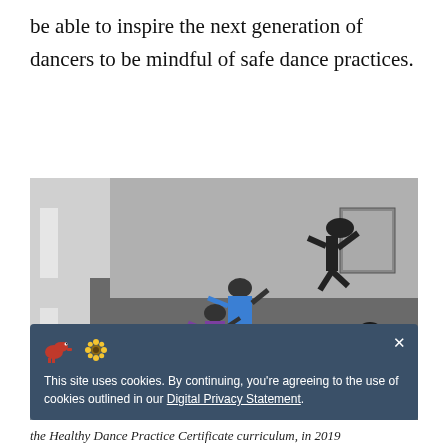be able to inspire the next generation of dancers to be mindful of safe dance practices.
[Figure (photo): Group of dancers performing or practicing in a studio with dark flooring, some wearing colorful tops (blue, purple), photographed from above/sideways angle.]
This site uses cookies. By continuing, you're agreeing to the use of cookies outlined in our Digital Privacy Statement.
the Healthy Dance Practice Certificate curriculum, in 2019